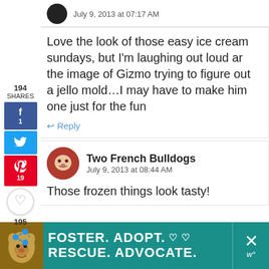July 9, 2013 at 07:17 AM
Love the look of those easy ice cream sundays, but I'm laughing out loud ar the image of Gizmo trying to figure out a jello mold…I may have to make him one just for the fun
↩ Reply
194 SHARES
f 1
🐦
19
♡
195
<+
Two French Bulldogs
July 9, 2013 at 08:44 AM
Those frozen things look tasty!
FOSTER. ADOPT. ♡ ♡   ✕
RESCUE. ADVOCATE.   w°